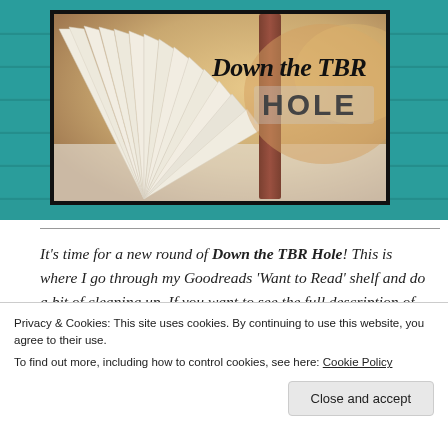[Figure (illustration): Banner image with teal wood-plank background containing a framed photo of an open book with text 'Down the TBR HOLE' overlaid in script and bold block letters]
It's time for a new round of Down the TBR Hole! This is where I go through my Goodreads 'Want to Read' shelf and do a bit of cleaning up. If you want to see the full description of what this post is all
Privacy & Cookies: This site uses cookies. By continuing to use this website, you agree to their use.
To find out more, including how to control cookies, see here: Cookie Policy
Close and accept